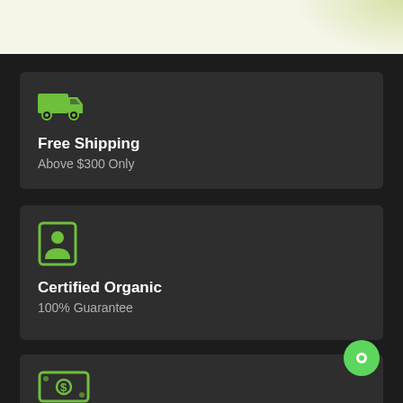[Figure (infographic): Top banner with light cream/yellow background and decorative green gradient on right side]
[Figure (infographic): Dark card with green truck icon, title 'Free Shipping', subtitle 'Above $300 Only']
Free Shipping
Above $300 Only
[Figure (infographic): Dark card with green ID/contact card icon, title 'Certified Organic', subtitle '100% Guarantee']
Certified Organic
100% Guarantee
[Figure (infographic): Partially visible dark card with green money/cash icon at bottom of page]
[Figure (infographic): Green circular chat bubble button in bottom right corner]